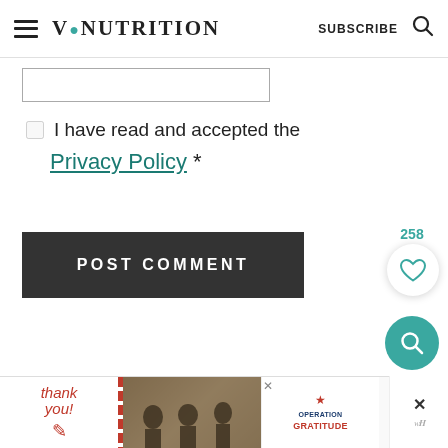V:NUTRITION | SUBSCRIBE
[Figure (screenshot): Input text field, partially visible]
☐ I have read and accepted the Privacy Policy *
POST COMMENT
258
[Figure (infographic): Heart (like) button icon in white circle with shadow]
[Figure (infographic): Teal circular search FAB button]
[Figure (infographic): Advertisement banner: Operation Gratitude thank you ad with soldiers photo]